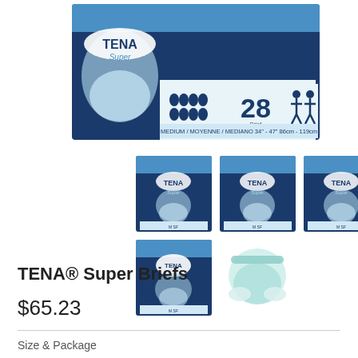[Figure (photo): Large TENA Super Briefs product package box, dark navy blue and light blue design, showing absorption droplets, count '28', medium size label, and two figure icons.]
[Figure (photo): Three TENA Super Briefs thumbnail product images in a row — small navy/blue package photos.]
[Figure (photo): Two more thumbnails: one TENA Super Briefs package and one photo of the brief/diaper garment itself on white background.]
TENA® Super Briefs
$65.23
Size & Package